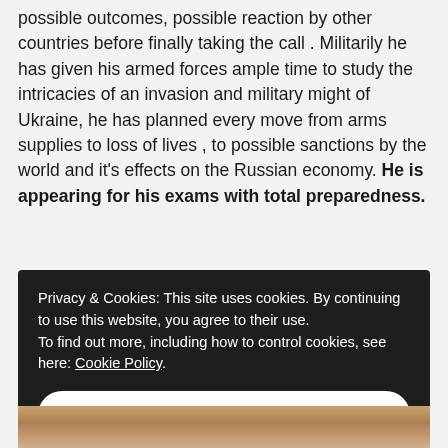possible outcomes, possible reaction by other countries before finally taking the call . Militarily he has given his armed forces ample time to study the intricacies of an invasion and military might of Ukraine, he has planned every move from arms supplies to loss of lives , to possible sanctions by the world and it's effects on the Russian economy. He is appearing for his exams with total preparedness.
Privacy & Cookies: This site uses cookies. By continuing to use this website, you agree to their use. To find out more, including how to control cookies, see here: Cookie Policy
Close and accept
[Figure (photo): Partial view of a person's face, cropped at bottom of page]